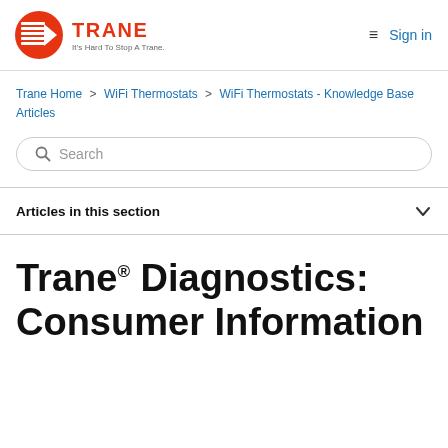Trane | It's Hard To Stop A Trane | Sign in
Trane Home > WiFi Thermostats > WiFi Thermostats - Knowledge Base Articles
Search
Articles in this section
Trane® Diagnostics: Consumer Information